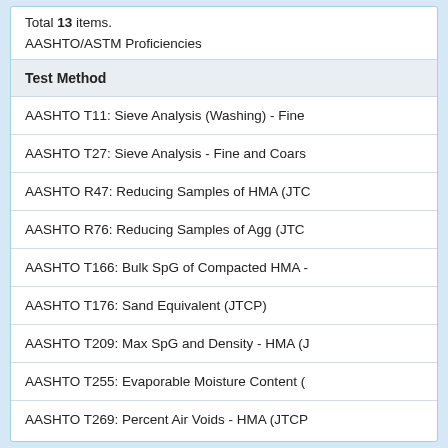Total 13 items.
AASHTO/ASTM Proficiencies
| Test Method |
| --- |
| AASHTO T11: Sieve Analysis (Washing) - Fine |
| AASHTO T27: Sieve Analysis - Fine and Coars |
| AASHTO R47: Reducing Samples of HMA (JTC |
| AASHTO R76: Reducing Samples of Agg (JTC |
| AASHTO T166: Bulk SpG of Compacted HMA - |
| AASHTO T176: Sand Equivalent (JTCP) |
| AASHTO T209: Max SpG and Density - HMA (J |
| AASHTO T255: Evaporable Moisture Content ( |
| AASHTO T269: Percent Air Voids - HMA (JTCP |